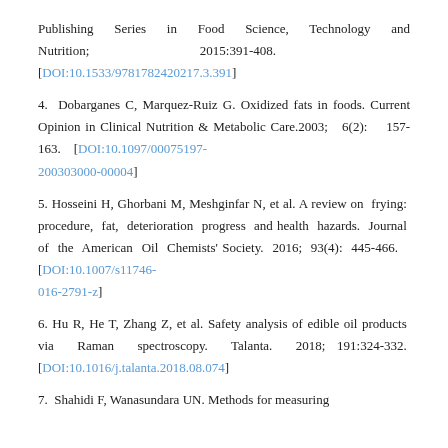Publishing Series in Food Science, Technology and Nutrition; 2015:391-408. [DOI:10.1533/9781782420217.3.391]
4. Dobarganes C, Marquez-Ruiz G. Oxidized fats in foods. Current Opinion in Clinical Nutrition & Metabolic Care.2003; 6(2): 157-163. [DOI:10.1097/00075197-200303000-00004]
5. Hosseini H, Ghorbani M, Meshginfar N, et al. A review on frying: procedure, fat, deterioration progress and health hazards. Journal of the American Oil Chemists' Society. 2016; 93(4): 445-466. [DOI:10.1007/s11746-016-2791-z]
6. Hu R, He T, Zhang Z, et al. Safety analysis of edible oil products via Raman spectroscopy. Talanta. 2018; 191:324-332. [DOI:10.1016/j.talanta.2018.08.074]
7. Shahidi F, Wanasundara UN. Methods for measuring...